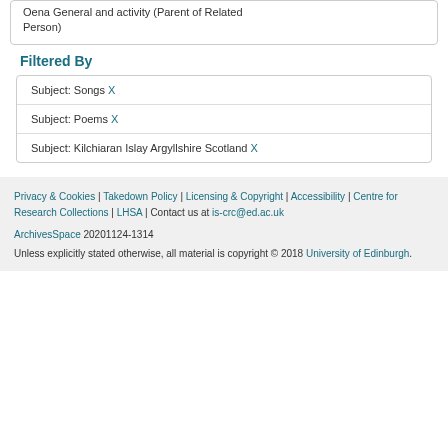Oena General and activity (Parent of Related Person)
Filtered By
Subject: Songs X
Subject: Poems X
Subject: Kilchiaran Islay Argyllshire Scotland X
Privacy & Cookies | Takedown Policy | Licensing & Copyright | Accessibility | Centre for Research Collections | LHSA | Contact us at is-crc@ed.ac.uk
ArchivesSpace 20201124-1314
Unless explicitly stated otherwise, all material is copyright © 2018 University of Edinburgh.